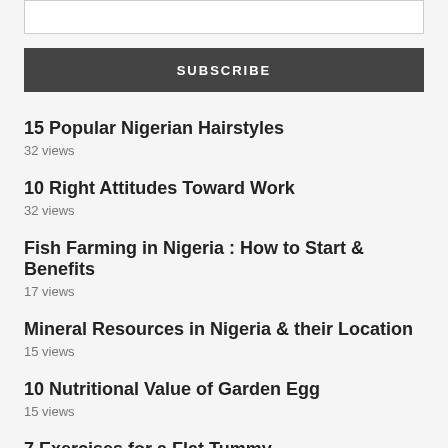[Figure (other): Input text box (email subscription field)]
SUBSCRIBE
15 Popular Nigerian Hairstyles
32 views
10 Right Attitudes Toward Work
32 views
Fish Farming in Nigeria : How to Start & Benefits
17 views
Mineral Resources in Nigeria & their Location
15 views
10 Nutritional Value of Garden Egg
15 views
7 Exercises for a Flat Tummy